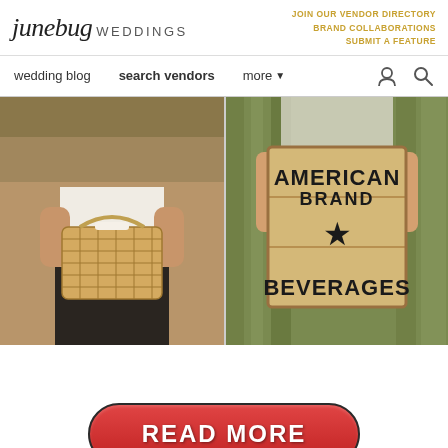junebug WEDDINGS | JOIN OUR VENDOR DIRECTORY | BRAND COLLABORATIONS | SUBMIT A FEATURE
wedding blog | search vendors | more
[Figure (photo): Two side-by-side outdoor photos: left shows a person in dark pants and white shirt holding a wicker basket; right shows a person holding a wooden crate sign reading AMERICAN BRAND BEVERAGES with a star, outdoors with tall grass in background.]
[Figure (other): READ MORE button — red rounded rectangle button with white bold text reading READ MORE, dark border.]